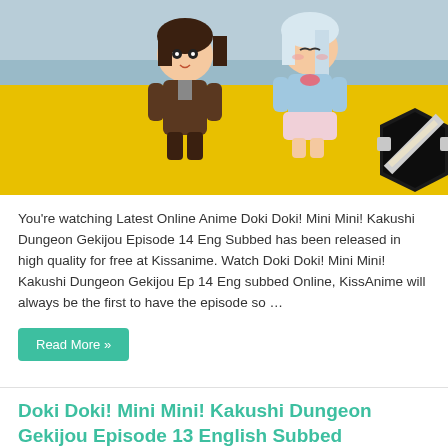[Figure (illustration): Anime chibi characters (two characters) on a yellow background scene from Doki Doki! Mini Mini! Kakushi Dungeon Gekijou]
You're watching Latest Online Anime Doki Doki! Mini Mini! Kakushi Dungeon Gekijou Episode 14 Eng Subbed has been released in high quality for free at Kissanime. Watch Doki Doki! Mini Mini! Kakushi Dungeon Gekijou Ep 14 Eng subbed Online, KissAnime will always be the first to have the episode so …
Read More »
Doki Doki! Mini Mini! Kakushi Dungeon Gekijou Episode 13 English Subbed